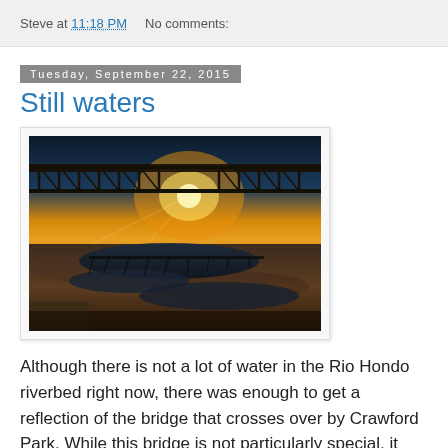Steve at 11:18 PM   No comments:
Tuesday, September 22, 2015
Still waters
[Figure (photo): Photograph of a bridge over the Rio Hondo riverbed at sunset, with the bridge reflecting in shallow pools of water on the dry riverbed. The sun is setting behind the bridge creating a lens flare effect. The foreground shows muddy terrain with scattered puddles reflecting the bridge structure.]
Although there is not a lot of water in the Rio Hondo riverbed right now, there was enough to get a reflection of the bridge that crosses over by Crawford Park. While this bridge is not particularly special, it made for an intriguing reflection. I find it interesting that often the reflection of a thing is more